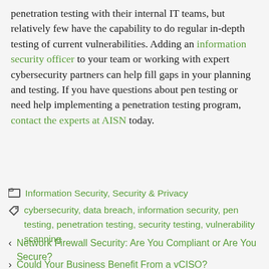penetration testing with their internal IT teams, but relatively few have the capability to do regular in-depth testing of current vulnerabilities. Adding an information security officer to your team or working with expert cybersecurity partners can help fill gaps in your planning and testing. If you have questions about pen testing or need help implementing a penetration testing program, contact the experts at AISN today.
Categories: Information Security, Security & Privacy
Tags: cybersecurity, data breach, information security, pen testing, penetration testing, security testing, vulnerability scanning
< Network Firewall Security: Are You Compliant or Are You Secure?
> Could Your Business Benefit From a vCISO?